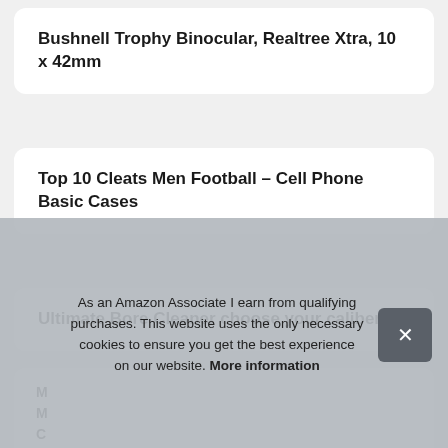Bushnell Trophy Binocular, Realtree Xtra, 10 x 42mm
Top 10 Cleats Men Football – Cell Phone Basic Cases
Ultimate Bore Cleaner choose your caliber
M
M
C
P
As an Amazon Associate I earn from qualifying purchases. This website uses the only necessary cookies to ensure you get the best experience on our website. More information